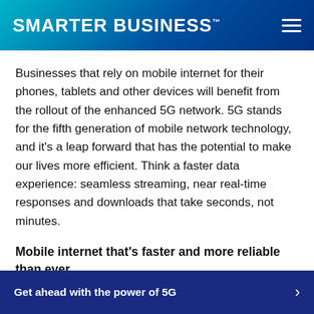SMARTER BUSINESS™
Businesses that rely on mobile internet for their phones, tablets and other devices will benefit from the rollout of the enhanced 5G network. 5G stands for the fifth generation of mobile network technology, and it's a leap forward that has the potential to make our lives more efficient. Think a faster data experience: seamless streaming, near real-time responses and downloads that take seconds, not minutes.
Mobile internet that's faster and more reliable than ever
5G offers ultra-fast and reliable mobile networking and,
Get ahead with the power of 5G